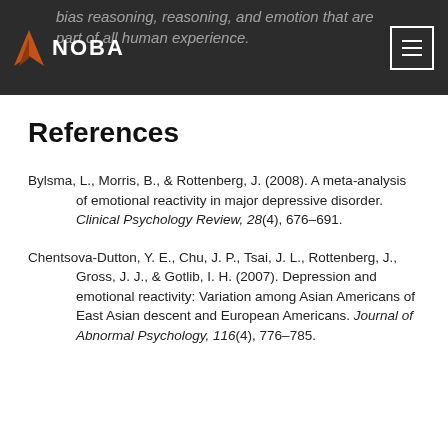NOBA — bias reasoning, reasoning, and emotion that are part of all human experience.
References
Bylsma, L., Morris, B., & Rottenberg, J. (2008). A meta-analysis of emotional reactivity in major depressive disorder. Clinical Psychology Review, 28(4), 676–691.
Chentsova-Dutton, Y. E., Chu, J. P., Tsai, J. L., Rottenberg, J., Gross, J. J., & Gotlib, I. H. (2007). Depression and emotional reactivity: Variation among Asian Americans of East Asian descent and European Americans. Journal of Abnormal Psychology, 116(4), 776–785.